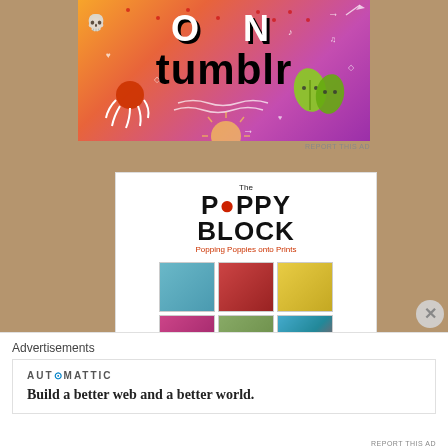[Figure (illustration): Tumblr advertisement banner with colorful gradient background (orange to purple). Shows text 'ON tumblr' with doodle decorations including a skull, sun, music notes, arrows, hearts, and cartoon leaf/plant characters.]
REPORT THIS AD
[Figure (logo): The Poppy Block advertisement. Logo shows 'The POPPY BLOCK' in bold black text with a red poppy flower replacing the O in POPPY. Tagline: 'Popping Poppies onto Prints'. Below the logo is a 3x3 grid of product thumbnail images showing various floral/nature prints.]
Advertisements
[Figure (logo): Automattic advertisement. Logo shows 'AUT⊙MATTIC' in spaced caps with a blue circle symbol replacing the O. Tagline: 'Build a better web and a better world.']
REPORT THIS AD